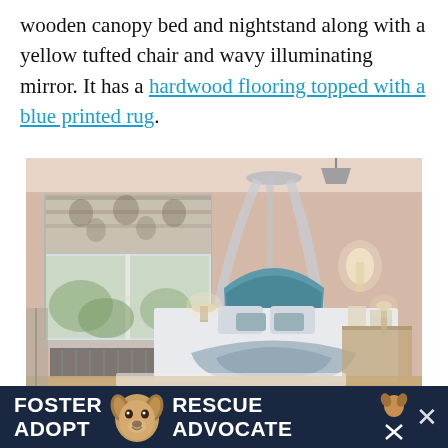wooden canopy bed and nightstand along with a yellow tufted chair and wavy illuminating mirror. It has a hardwood flooring topped with a blue printed rug.
[Figure (photo): A bright bedroom with a canopy bed with teal headboard, patterned roman shades on a large window, blue/grey pillows and throw, and a radiator beneath the window. A heart icon button (843 likes) and share button are overlaid on the right side.]
[Figure (infographic): Dark navy advertisement banner at the bottom reading FOSTER / ADOPT on the left, a beagle dog image in the center, and RESCUE / ADVOCATE on the right, with a close (X) button on the far right.]